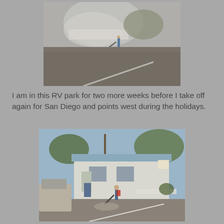[Figure (photo): Outdoor scene at an RV park showing a person using a leaf blower on a gravel road, with dust/smoke visible. Background shows a white fence and trees.]
I am in this RV park for two more weeks before I take off again for San Diego and points west during the holidays.
[Figure (photo): Outdoor scene at an RV park showing a person using a leaf blower on a paved road in front of a white mobile home with a blue roof, trees, a car, and a trash bin visible.]